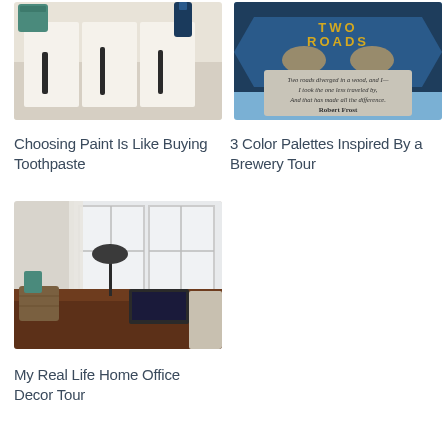[Figure (photo): Paint supplies on a white surface with paint can and brushes]
Choosing Paint Is Like Buying Toothpaste
[Figure (photo): Two Roads brewery sign with Robert Frost quote]
3 Color Palettes Inspired By a Brewery Tour
[Figure (photo): Home office desk with lamp and laptop near windows]
My Real Life Home Office Decor Tour